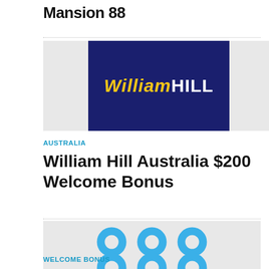Mansion 88
[Figure (logo): William Hill logo — dark navy blue background with 'William' in italic gold script and 'HILL' in bold white uppercase text]
AUSTRALIA
William Hill Australia $200 Welcome Bonus
[Figure (logo): 888 poker logo — three blue circular '8' digits arranged in a grid pattern, with 'poker' in blue text below]
WELCOME BONUS